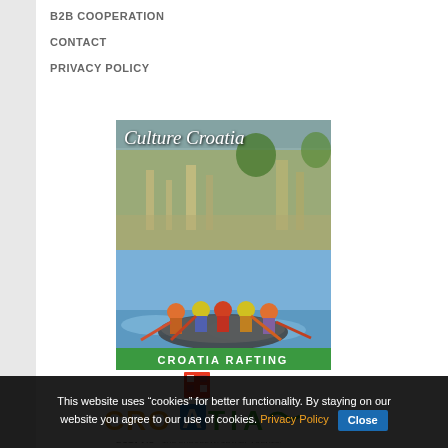B2B COOPERATION
CONTACT
PRIVACY POLICY
[Figure (illustration): Culture Croatia banner with ruins photo and script text 'Culture Croatia']
[Figure (illustration): Croatia Rafting banner with photo of people rafting and green bottom bar with text 'CROATIA RAFTING']
[Figure (logo): Croatia tourism logo with colorful text 'CROATIA' and a checkered square above]
ECTAA's THE EUROPEAN TRAVEL AGENTS' AND TOUR OPERATORS' ASSOCIATIONS
This website uses "cookies" for better functionality. By staying on our website you agree to our use of cookies. Privacy Policy  Close